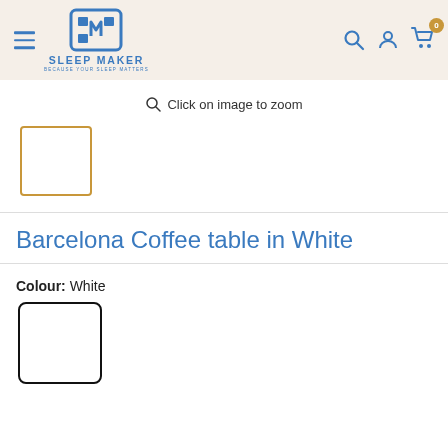[Figure (logo): Sleep Maker logo with icon and tagline 'BECAUSE YOUR SLEEP MATTERS']
Click on image to zoom
[Figure (photo): Small thumbnail image placeholder with orange/gold border (blank white)]
Barcelona Coffee table in White
Colour:  White
[Figure (photo): White colour swatch box with black border]